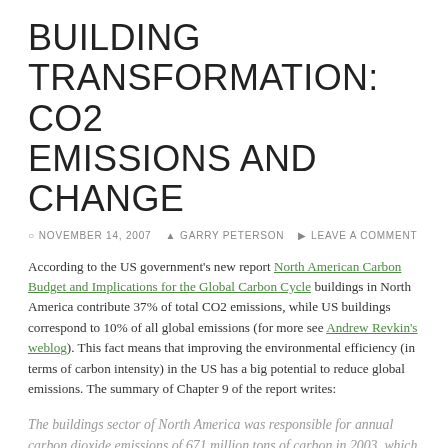BUILDING TRANSFORMATION: CO2 EMISSIONS AND CHANGE
NOVEMBER 14, 2007  GARRY PETERSON  LEAVE A COMMENT
According to the US government's new report North American Carbon Budget and Implications for the Global Carbon Cycle buildings in North America contribute 37% of total CO2 emissions, while US buildings correspond to 10% of all global emissions (for more see Andrew Revkin's weblog). This fact means that improving the environmental efficiency (in terms of carbon intensity) in the US has a big potential to reduce global emissions. The summary of Chapter 9 of the report writes:
The buildings sector of North America was responsible for annual carbon dioxide emissions of 671 million tons of carbon in 2003, which is 37% of total North American carbon dioxide emissions and 10% of global emissions